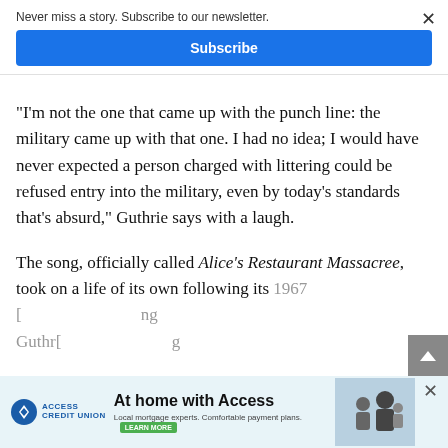Never miss a story. Subscribe to our newsletter.
Subscribe
“I’m not the one that came up with the punch line: the military came up with that one. I had no idea; I would have never expected a person charged with littering could be refused entry into the military, even by today’s standards that’s absurd,” Guthrie says with a laugh.
The song, officially called Alice’s Restaurant Massacree, took on a life of its own following its 1967 [recording] ... Guthr[ie]
[Figure (advertisement): Access Credit Union ad: 'At home with Access' with tagline 'Local mortgage experts. Comfortable payment plans.' and a LEARN MORE button. Photo of a family on the right.]